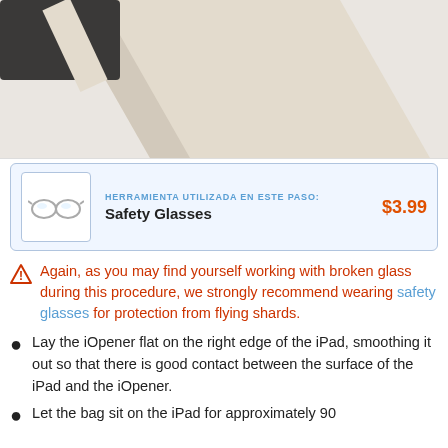[Figure (photo): Partial image of an iOpener (beige/cream colored flat heating bag) placed on a dark device, viewed from above at an angle, cut off at top of page.]
[Figure (photo): Small product image of Safety Glasses — clear lens safety glasses shown inside a blue-bordered box.]
HERRAMIENTA UTILIZADA EN ESTE PASO: Safety Glasses $3.99
Again, as you may find yourself working with broken glass during this procedure, we strongly recommend wearing safety glasses for protection from flying shards.
Lay the iOpener flat on the right edge of the iPad, smoothing it out so that there is good contact between the surface of the iPad and the iOpener.
Let the bag sit on the iPad for approximately 90